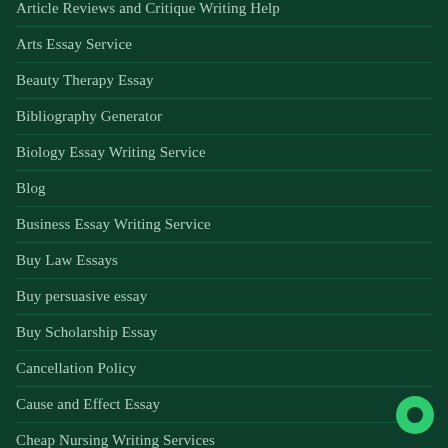Article Reviews and Critique Writing Help
Arts Essay Service
Beauty Therapy Essay
Bibliography Generator
Biology Essay Writing Service
Blog
Business Essay Writing Service
Buy Law Essays
Buy persuasive essay
Buy Scholarship Essay
Cancellation Policy
Cause and Effect Essay
Cheap Nursing Writing Services